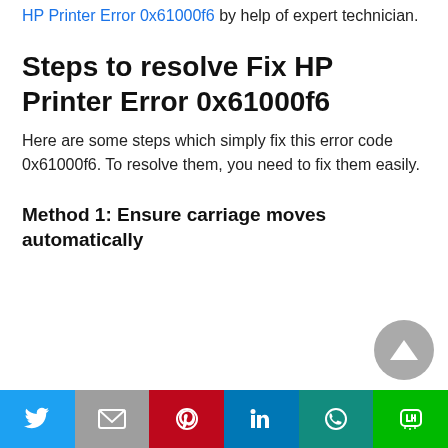HP Printer Error 0x61000f6 by help of expert technician.
Steps to resolve Fix HP Printer Error 0x61000f6
Here are some steps which simply fix this error code 0x61000f6. To resolve them, you need to fix them easily.
Method 1: Ensure carriage moves automatically
[Figure (other): Scroll-to-top circular button with upward triangle arrow]
[Figure (other): Social sharing bar with Twitter, Gmail, Pinterest, LinkedIn, WhatsApp, and LINE icons]